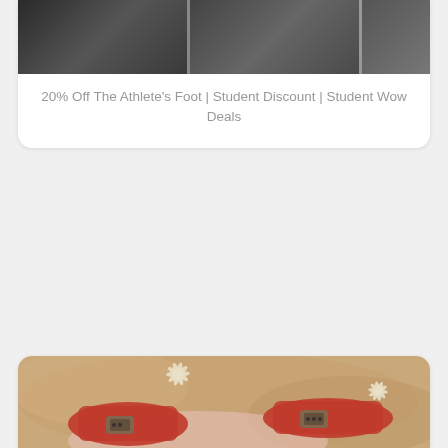[Figure (photo): Partial top of a card showing a dark/grey photo of shoes or background, cropped at top of page]
20% Off The Athlete's Foot | Student Discount | Student Wow Deals
[Figure (photo): Photo of sandals/clogs with starfish pattern on beige wooden platform soles and red/coral leather straps with metal buckles]